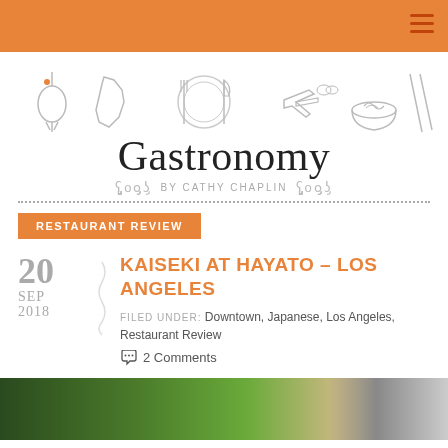Gastronomy by Cathy Chaplin — navigation bar
[Figure (illustration): Food-themed doodle icons: whisk, California map, plate with fork and knife, airplane, noodle bowl, chopsticks]
Gastronomy
BY CATHY CHAPLIN
RESTAURANT REVIEW
20
SEP
2018
KAISEKI AT HAYATO – LOS ANGELES
FILED UNDER: Downtown, Japanese, Los Angeles, Restaurant Review
2 Comments
[Figure (photo): Outdoor lush green foliage photo strip at bottom of page]